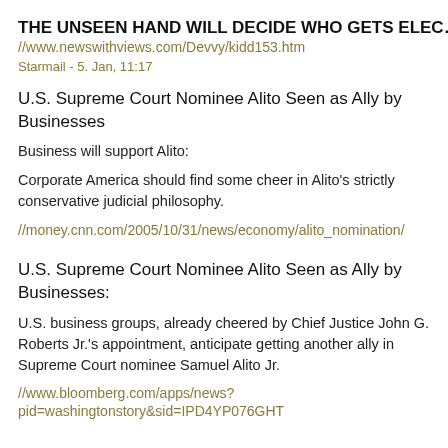THE UNSEEN HAND WILL DECIDE WHO GETS ELEC…
//www.newswithviews.com/Devvy/kidd153.htm
Starmail - 5. Jan, 11:17
U.S. Supreme Court Nominee Alito Seen as Ally by Businesses
Business will support Alito:
Corporate America should find some cheer in Alito's strictly conservative judicial philosophy.
//money.cnn.com/2005/10/31/news/economy/alito_nomination/
U.S. Supreme Court Nominee Alito Seen as Ally by Businesses:
U.S. business groups, already cheered by Chief Justice John G. Roberts Jr.'s appointment, anticipate getting another ally in Supreme Court nominee Samuel Alito Jr.
//www.bloomberg.com/apps/news?pid=washingtonstory&sid=IPD4YP076GHT